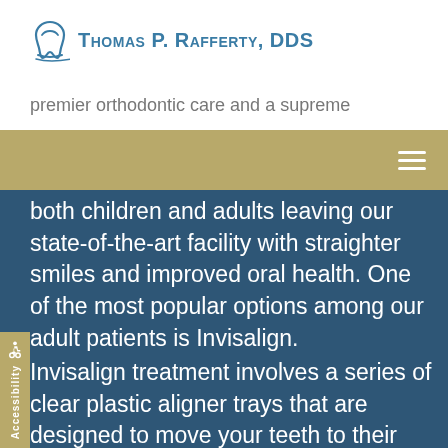Thomas P. Rafferty, DDS
premier orthodontic care and a supreme
both children and adults leaving our state-of-the-art facility with straighter smiles and improved oral health. One of the most popular options among our adult patients is Invisalign.
HOW DOES INVISALIGN WORK?
Invisalign treatment involves a series of clear plastic aligner trays that are designed to move your teeth to their proper positions. It all begins with a consultation, during which we will be able to determine if you are a suitable